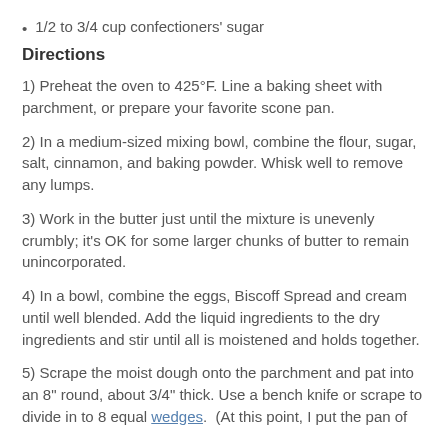1/2 to 3/4 cup confectioners' sugar
Directions
1) Preheat the oven to 425°F. Line a baking sheet with parchment, or prepare your favorite scone pan.
2) In a medium-sized mixing bowl, combine the flour, sugar, salt, cinnamon, and baking powder. Whisk well to remove any lumps.
3) Work in the butter just until the mixture is unevenly crumbly; it's OK for some larger chunks of butter to remain unincorporated.
4) In a bowl, combine the eggs, Biscoff Spread and cream until well blended. Add the liquid ingredients to the dry ingredients and stir until all is moistened and holds together.
5) Scrape the moist dough onto the parchment and pat into an 8" round, about 3/4" thick. Use a bench knife or scrape to divide in to 8 equal wedges.  (At this point, I put the pan of